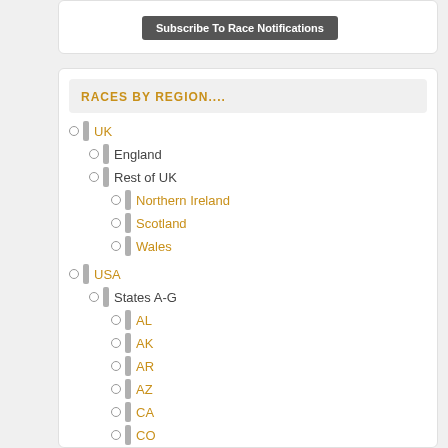Subscribe To Race Notifications
RACES BY REGION....
UK
England
Rest of UK
Northern Ireland
Scotland
Wales
USA
States A-G
AL
AK
AR
AZ
CA
CO
CT